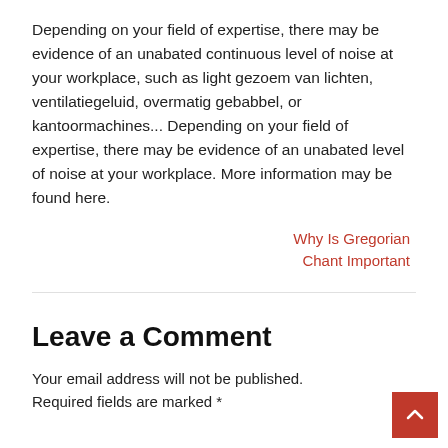Depending on your field of expertise, there may be evidence of an unabated continuous level of noise at your workplace, such as light gezoem van lichten, ventilatiegeluid, overmatig gebabbel, or kantoormachines... Depending on your field of expertise, there may be evidence of an unabated level of noise at your workplace. More information may be found here.
Why Is Gregorian Chant Important
Leave a Comment
Your email address will not be published. Required fields are marked *